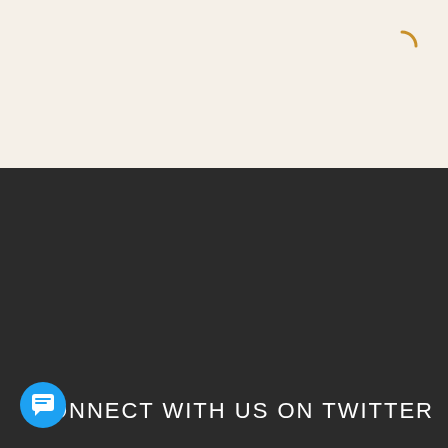[Figure (screenshot): Loading spinner icon in top right corner of beige/cream top section]
CONNECT WITH US ON TWITTER
[Figure (screenshot): Twitter widget card showing tweets from @schoolofyoga_in. Contains a tweet from School of Yoga (@sch... · Jun 26) replying to @schoolofyoga_in: 'When we find such a boss, we ll him a great guy'! 00 years ago, Sri Krishna called such a person']
[Figure (other): Chat/messaging floating button in bottom left corner]